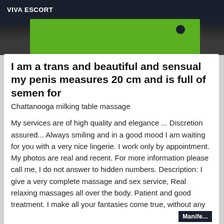VIVA ESCORT
[Figure (photo): Partial image strip showing green and dark background at top of listing card]
I am a trans and beautiful and sensual my penis measures 20 cm and is full of semen for
Chattanooga milking table massage
My services are of high quality and elegance ... Discretion assured... Always smiling and in a good mood I am waiting for you with a very nice lingerie. I work only by appointment. My photos are real and recent. For more information please call me, I do not answer to hidden numbers. Description: I give a very complete massage and sex service, Real relaxing massages all over the body. Patient and good treatment. I make all your fantasies come true, without any problems. 24 hours available